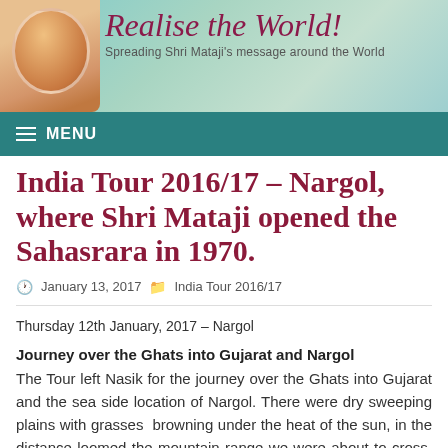Realise the World! Spreading Shri Mataji's message around the World
MENU
India Tour 2016/17 – Nargol, where Shri Mataji opened the Sahasrara in 1970.
January 13, 2017   India Tour 2016/17
Thursday 12th January, 2017 – Nargol
Journey over the Ghats into Gujarat and Nargol
The Tour left Nasik for the journey over the Ghats into Gujarat and the sea side location of Nargol. There were dry sweeping plains with grasses browning under the heat of the sun, in the distance loomed the mountain range we were about to cross. The